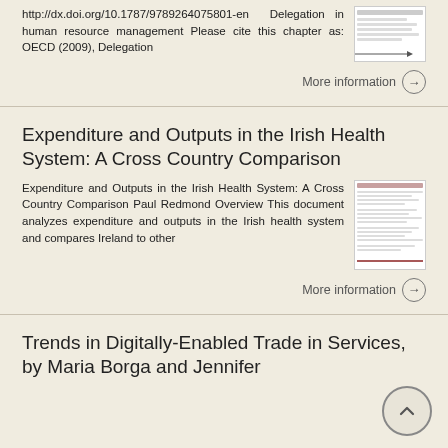http://dx.doi.org/10.1787/9789264075801-en Delegation in human resource management Please cite this chapter as: OECD (2009), Delegation
More information →
Expenditure and Outputs in the Irish Health System: A Cross Country Comparison
Expenditure and Outputs in the Irish Health System: A Cross Country Comparison Paul Redmond Overview This document analyzes expenditure and outputs in the Irish health system and compares Ireland to other
More information →
Trends in Digitally-Enabled Trade in Services, by Maria Borga and Jennifer